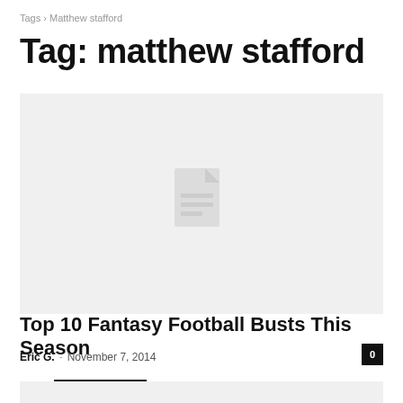Tags › Matthew stafford
Tag: matthew stafford
[Figure (illustration): Gray placeholder image with a document/file icon in the center. A 'Fantasy Football' black category label appears at the bottom left of the image.]
Top 10 Fantasy Football Busts This Season
Eric G. · November 7, 2014
[Figure (photo): Partial gray placeholder image at the bottom of the page, cropped.]